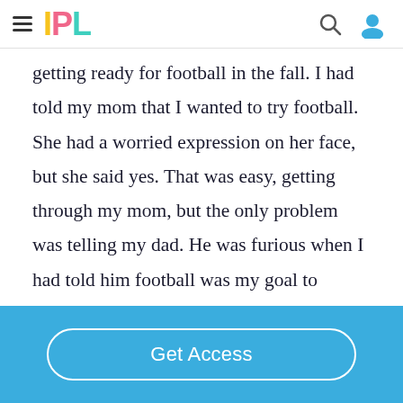IPL
getting ready for football in the fall. I had told my mom that I wanted to try football. She had a worried expression on her face, but she said yes. That was easy, getting through my mom, but the only problem was telling my dad. He was furious when I had told him football was my goal to achieve. Then when I had calmed him down, he finally said “Maybe.” So that
Get Access